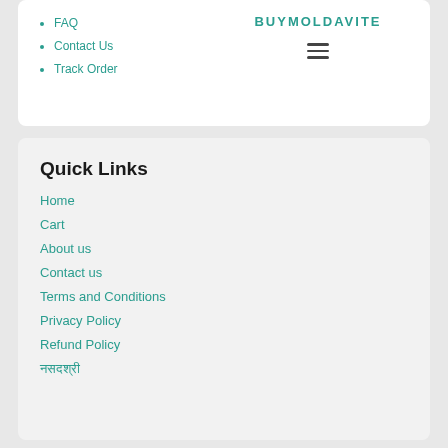[Figure (screenshot): Website header card showing BUYMOLDAVITE brand name and hamburger menu icon on the right, with navigation bullet list on the left.]
FAQ
Contact Us
Track Order
Quick Links
Home
Cart
About us
Contact us
Terms and Conditions
Privacy Policy
Refund Policy
नसदश्री